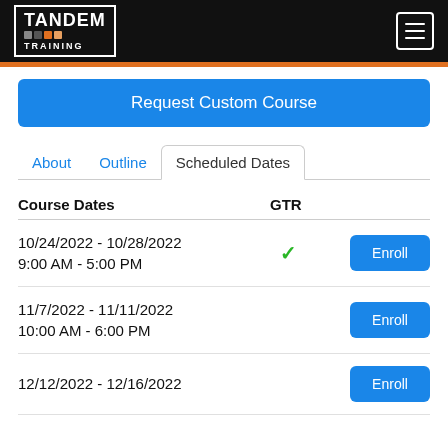TANDEM TRAINING
Request Custom Course
About  Outline  Scheduled Dates
| Course Dates | GTR |  |
| --- | --- | --- |
| 10/24/2022 - 10/28/2022
9:00 AM - 5:00 PM | ✓ | Enroll |
| 11/7/2022 - 11/11/2022
10:00 AM - 6:00 PM |  | Enroll |
| 12/12/2022 - 12/16/2022 |  | Enroll |